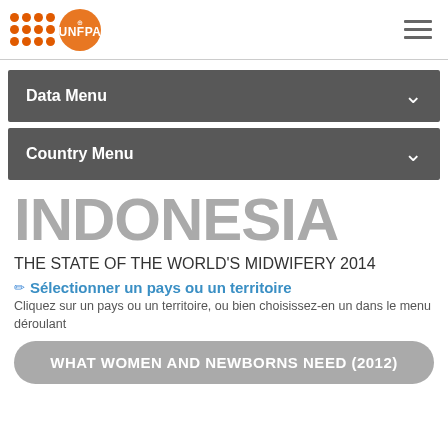[Figure (logo): UNFPA logo with orange dots grid and orange circle with UN emblem]
Data Menu
Country Menu
INDONESIA
THE STATE OF THE WORLD'S MIDWIFERY 2014
Sélectionner un pays ou un territoire
Cliquez sur un pays ou un territoire, ou bien choisissez-en un dans le menu déroulant
WHAT WOMEN AND NEWBORNS NEED (2012)